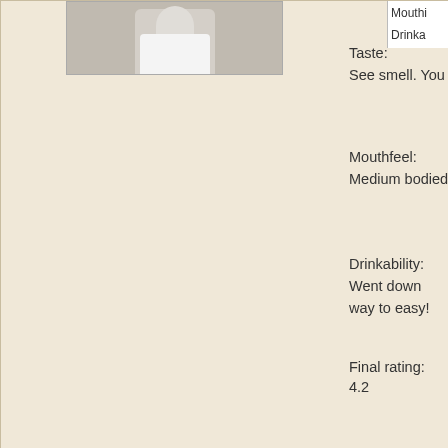[Figure (photo): User avatar photo, partially visible at top, person wearing white]
Mouthf...
Drinka...
Taste:
See smell. You can taste the doubleness.
Mouthfeel:
Medium bodied with a good hoppy after taste.
Drinkability:
Went down way to easy!
Final rating:
4.2
Rating: 0 (from 0 votes)
Rate this beer!
Hop Henge Experimental IPA – Deschutes Brewing – N...
Click here to cancel reply.
Name (required)